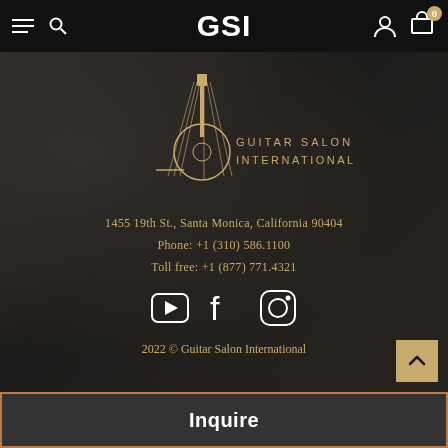GSI
[Figure (logo): Guitar Salon International logo — stylized guitar outline in gold with text GUITAR SALON INTERNATIONAL]
1455 19th St., Santa Monica, California 90404
Phone: +1 (310) 586.1100
Toll free: +1 (877) 771.4321
[Figure (illustration): Social media icons: YouTube, Facebook, Instagram]
2022 © Guitar Salon International
Inquire